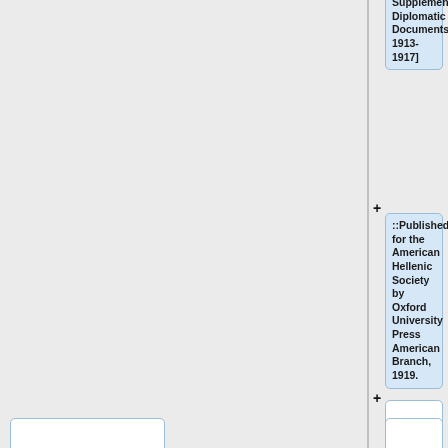Supplementary Diplomatic Documents 1913-1917]
::Published for the American Hellenic Society by Oxford University Press American Branch, 1919.
===Hungary===
<b>Post-World War I; See also: Austria-Hungary</b><p>